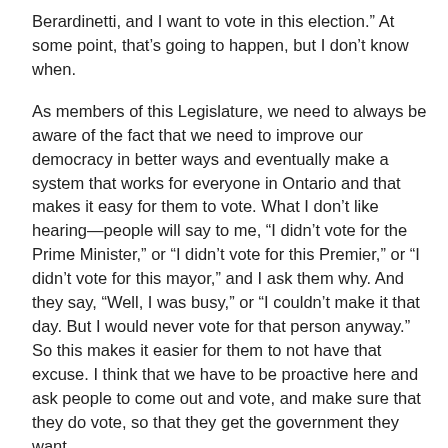Berardinetti, and I want to vote in this election.” At some point, that’s going to happen, but I don’t know when.
As members of this Legislature, we need to always be aware of the fact that we need to improve our democracy in better ways and eventually make a system that works for everyone in Ontario and that makes it easy for them to vote. What I don’t like hearing—people will say to me, “I didn’t vote for the Prime Minister,” or “I didn’t vote for this Premier,” or “I didn’t vote for this mayor,” and I ask them why. And they say, “Well, I was busy,” or “I couldn’t make it that day. But I would never vote for that person anyway.” So this makes it easier for them to not have that excuse. I think that we have to be proactive here and ask people to come out and vote, and make sure that they do vote, so that they get the government they want.
I thank you for your indulgence. I got off-topic a little bit here, but it’s an issue I feel very passionate about.